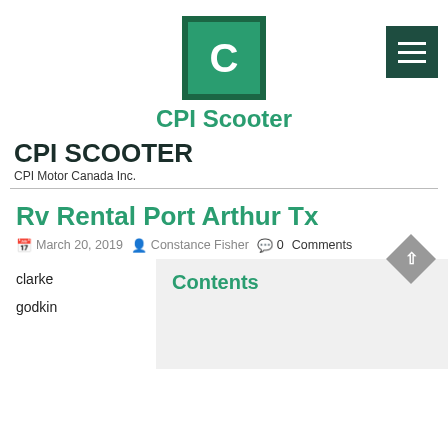[Figure (logo): CPI Scooter logo: green square with white C letter]
CPI Scooter
CPI SCOOTER
CPI Motor Canada Inc.
Rv Rental Port Arthur Tx
March 20, 2019   Constance Fisher   0 Comments
clarke
godkin
Contents